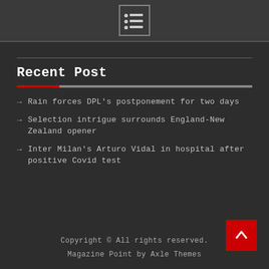[menu icon]
Recent Post
Rain forces DPL’s postponement for two days
Selection intrigue surrounds England-New Zealand opener
Inter Milan’s Arturo Vidal in hospital after positive Covid test
Copyright © All rights reserved.
Magazine Point by Axle Themes